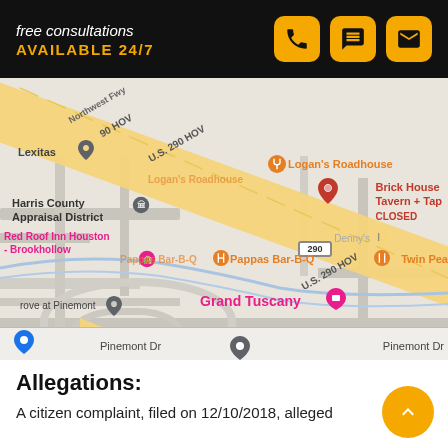free consultations
AVAILABLE 24/7
[Figure (map): Google Maps screenshot showing the area near Harris County Appraisal District, Pinemont Dr, Houston TX. Shows U.S. 290 HOV highway diagonal, landmarks including Logan's Roadhouse, Brick House Tavern + Tap (CLOSED), Red Roof Inn Houston - Brookhollow, Pappas Bar-B-Q, Grand Tuscany, Geospace Technologies Corporation, Twin Peaks, Denny's, Lexitas, Grove at Pinemont, Central D road.]
Allegations:
A citizen complaint, filed on 12/10/2018, alleged